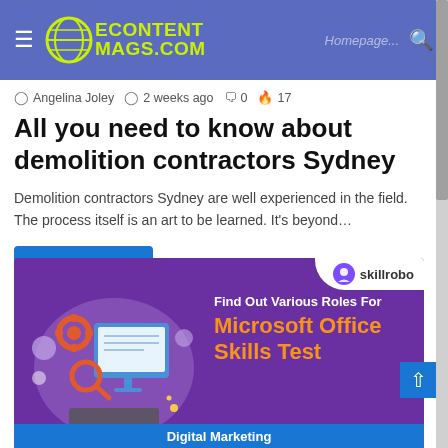EcontentMags.com
Angelina Joley  2 weeks ago  0  17
All you need to know about demolition contractors Sydney
Demolition contractors Sydney are well experienced in the field. The process itself is an art to be learned. It's beyond…
Read More »
[Figure (illustration): Advertisement banner for Skillrobo showing an illustration of a person at a computer with gears and search icons, with text 'Find Out Various Roles For Microsoft Office Skills Test' and a 'Digital Marketing' button partially visible at the bottom.]